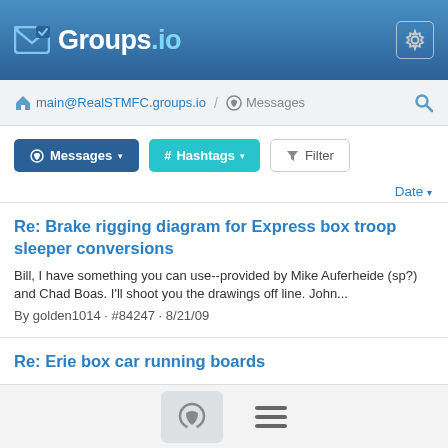Groups.io
main@RealSTMFC.groups.io / Messages
Messages # Hashtags Filter
Date
Re: Brake rigging diagram for Express box troop sleeper conversions
Bill, I have something you can use--provided by Mike Auferheide (sp?) and Chad Boas. I'll shoot you the drawings off line. John...
By golden1014 · #84247 · 8/21/09
Re: Erie box car running boards
Thanks, Ed. Tony Thompson Editor, Signature Press, Berkeley,